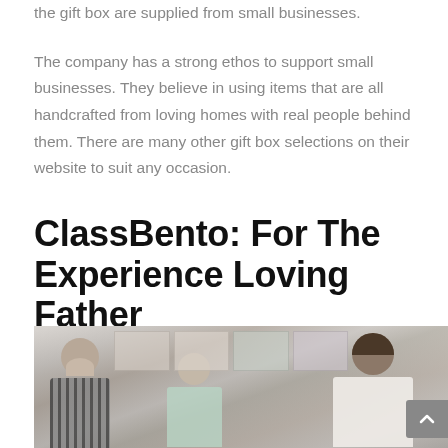the gift box are supplied from small businesses. The company has a strong ethos to support small businesses. They believe in using items that are all handcrafted from loving homes with real people behind them. There are many other gift box selections on their website to suit any occasion.
ClassBento: For The Experience Loving Father
[Figure (photo): Photo of people working in an art studio or craft workshop. A bald man in a plaid shirt and a woman with dark hair leaning over work surfaces, with another person visible in the middle. Shelves and artwork visible in the background.]